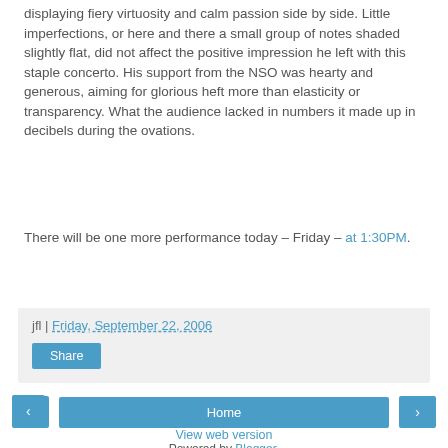displaying fiery virtuosity and calm passion side by side. Little imperfections, or here and there a small group of notes shaded slightly flat, did not affect the positive impression he left with this staple concerto. His support from the NSO was hearty and generous, aiming for glorious heft more than elasticity or transparency. What the audience lacked in numbers it made up in decibels during the ovations.
There will be one more performance today – Friday – at 1:30PM.
jfl | Friday, September 22, 2006
Share
Home
View web version
Powered by Blogger.